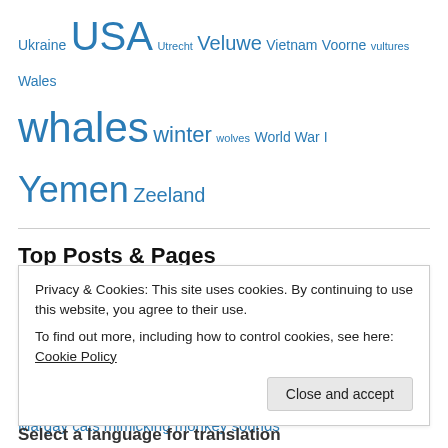Ukraine USA Utrecht Veluwe Vietnam Voorne vultures Wales whales winter wolves World War I Yemen Zeeland
Top Posts & Pages
Which animals kill humans?
FBI: prisoner and koran abuse at Guantanamo Bay
Oldest giant ichthyosaur discovery
Roman poet Ovid, owls, superstition and love
Erdogan attacks Syrian Kurds, Trump OKs
Qatar lizards, new research
Margay cats mimicking monkey sounds
Privacy & Cookies: This site uses cookies. By continuing to use this website, you agree to their use. To find out more, including how to control cookies, see here: Cookie Policy
Select a language for translation